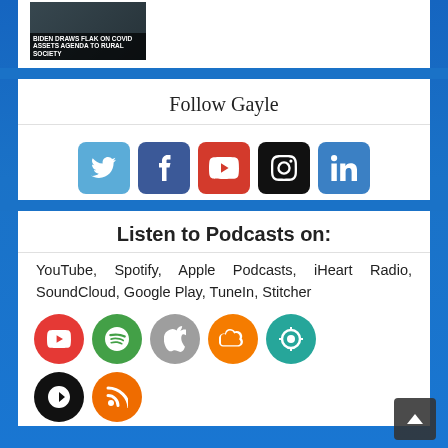[Figure (screenshot): Video thumbnail showing a news anchor, with text overlay 'BIDEN DRAWS FLAK ON COVID ASSETS AGENDA TO RURAL SOCIETY']
Follow Gayle
[Figure (infographic): Row of 5 social media icons: Twitter (light blue), Facebook (dark blue), YouTube (red), Instagram (black), LinkedIn (blue)]
Listen to Podcasts on:
YouTube, Spotify, Apple Podcasts, iHeart Radio, SoundCloud, Google Play, TuneIn, Stitcher
[Figure (infographic): Row of podcast platform icons: YouTube (red circle), Spotify (green circle), Apple Podcasts (gray circle), SoundCloud (orange circle), TuneIn (teal circle), plus partial row with SoundCloud-like black circle and orange RSS circle]